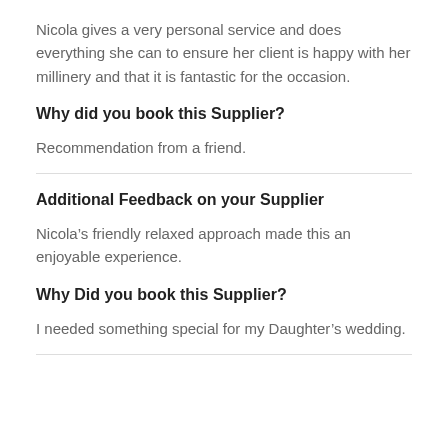Nicola gives a very personal service and does everything she can to ensure her client is happy with her millinery and that it is fantastic for the occasion.
Why did you book this Supplier?
Recommendation from a friend.
Additional Feedback on your Supplier
Nicola’s friendly relaxed approach made this an enjoyable experience.
Why Did you book this Supplier?
I needed something special for my Daughter’s wedding.